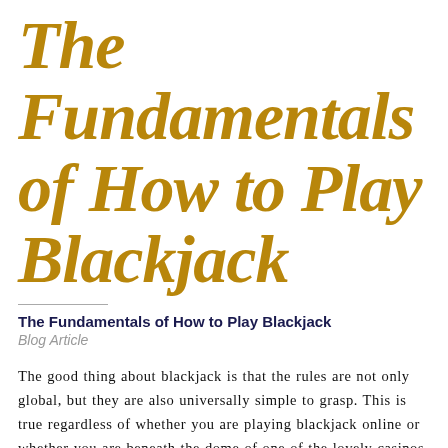The Fundamentals of How to Play Blackjack
The Fundamentals of How to Play Blackjack
Blog Article
The good thing about blackjack is that the rules are not only global, but they are also universally simple to grasp. This is true regardless of whether you are playing blackjack online or whether you are beneath the dome of one of the lovely casinos emas168 in Las Vegas or Monte Carlo. In point of fact, a child of eight years of age is perfectly